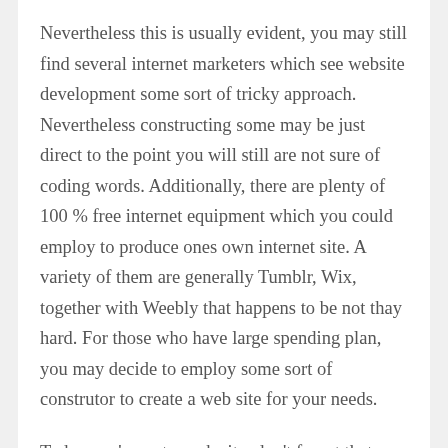Nevertheless this is usually evident, you may still find several internet marketers which see website development some sort of tricky approach. Nevertheless constructing some may be just direct to the point you will still are not sure of coding words. Additionally, there are plenty of 100 % free internet equipment which you could employ to produce ones own internet site. A variety of them are generally Tumblr, Wix, together with Weebly that happens to be not thay hard. For those who have large spending plan, you may decide to employ some sort of construtor to create a web site for your needs.
Today you've got a web site, don't forget that you need to end up "online". Whenever you complement, improve